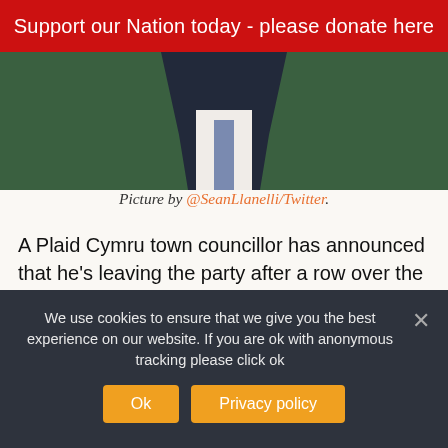Support our Nation today - please donate here
[Figure (photo): Partial photo of a man in a dark suit and tie against a green background, cropped to show chest and lower face only.]
Picture by @SeanLlanelli/Twitter.
A Plaid Cymru town councillor has announced that he's leaving the party after a row over the selection of the Westminster General Election candidate in Llanelli last year.
His resignation is the continuation of a row that saw two members of the town's Plaid Cymru branch
We use cookies to ensure that we give you the best experience on our website. If you are ok with anonymous tracking please click ok